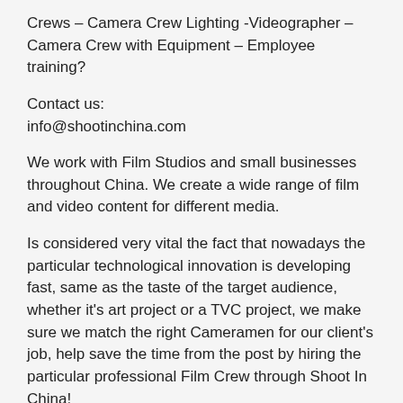Crews – Camera Crew Lighting -Videographer – Camera Crew with Equipment – Employee training?
Contact us:
info@shootinchina.com
We work with Film Studios and small businesses throughout China. We create a wide range of film and video content for different media.
Is considered very vital the fact that nowadays the particular technological innovation is developing fast, same as the taste of the target audience, whether it's art project or a TVC project, we make sure we match the right Cameramen for our client's job, help save the time from the post by hiring the particular professional Film Crew through Shoot In China!
Shenzhen Interview Filming Video Crews
We are a professional video production services organzation comprised of hardworking producers which brings smart producing to every video. For over 10 years, we have created films with unforgettable imagery and film which informs audience.